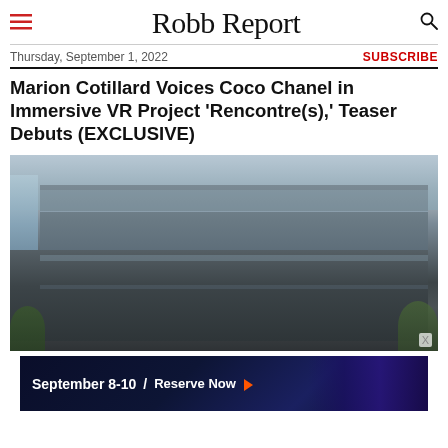Robb Report
Thursday, September 1, 2022
SUBSCRIBE
Marion Cotillard Voices Coco Chanel in Immersive VR Project 'Rencontre(s),' Teaser Debuts (EXCLUSIVE)
[Figure (photo): Exterior photograph of a modern multi-story building with glass and dark metal facade under an overcast sky, with trees visible at the sides.]
[Figure (infographic): Advertisement banner with dark blue background and city skyline glow, text reading 'September 8-10 / Reserve Now' with orange arrow.]